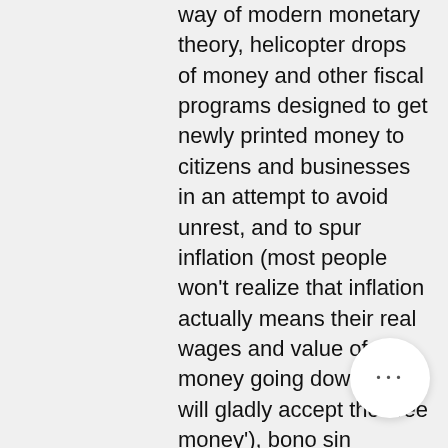way of modern monetary theory, helicopter drops of money and other fiscal programs designed to get newly printed money to citizens and businesses in an attempt to avoid unrest, and to spur inflation (most people won't realize that inflation actually means their real wages and value of money going down and will gladly accept the 'free money'), bono sin depósito codes for bitstarz. VERDICT : If you enjoy old-school 2D Super Mario-style mobile games, then Bitcoin Alien Run is a must-try for you, ei talletusbonusta codes for bitstarz. Spark Profit is an interactive fun bitcoin market prediction app. Bitcoin Flip additional features include: Mobile Version for iOS and Android Multi-Asset support Option to trade crypto through counterparty Free game. VERDICT : If you are a novice to bitcoin trading, you can start practising on Bitcoin Flip, casino bitstarz официальное зер. You can attack buildings, fight for territory,